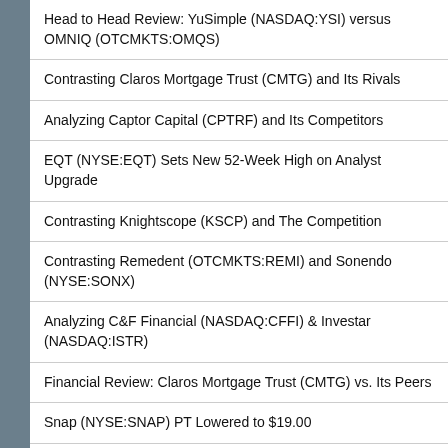Head to Head Review: YuSimple (NASDAQ:YSI) versus OMNIQ (OTCMKTS:OMQS)
Contrasting Claros Mortgage Trust (CMTG) and Its Rivals
Analyzing Captor Capital (CPTRF) and Its Competitors
EQT (NYSE:EQT) Sets New 52-Week High on Analyst Upgrade
Contrasting Knightscope (KSCP) and The Competition
Contrasting Remedent (OTCMKTS:REMI) and Sonendo (NYSE:SONX)
Analyzing C&F Financial (NASDAQ:CFFI) & Investar (NASDAQ:ISTR)
Financial Review: Claros Mortgage Trust (CMTG) vs. Its Peers
Snap (NYSE:SNAP) PT Lowered to $19.00
Oxford Industries (NYSE:OXM) Reaches New 1-Year High Following Analyst Upgrade
Peloton Interactive (NASDAQ:PTON) Shares Down 3.7%